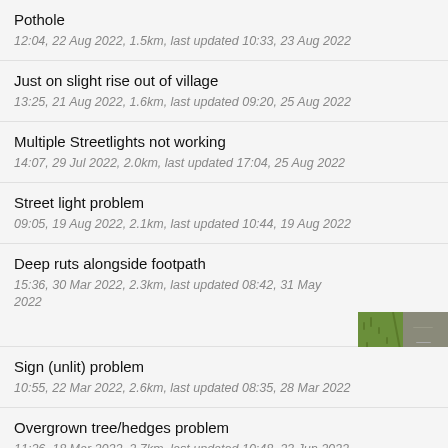Pothole
12:04, 22 Aug 2022, 1.5km, last updated 10:33, 23 Aug 2022
Just on slight rise out of village
13:25, 21 Aug 2022, 1.6km, last updated 09:20, 25 Aug 2022
Multiple Streetlights not working
14:07, 29 Jul 2022, 2.0km, last updated 17:04, 25 Aug 2022
Street light problem
09:05, 19 Aug 2022, 2.1km, last updated 10:44, 19 Aug 2022
Deep ruts alongside footpath
15:36, 30 Mar 2022, 2.3km, last updated 08:42, 31 May 2022
[Figure (photo): Photo of deep ruts alongside a footpath showing grass and a worn path]
Sign (unlit) problem
10:55, 22 Mar 2022, 2.6km, last updated 08:35, 28 Mar 2022
Overgrown tree/hedges problem
11:26, 18 Mar 2022, 2.7km, last updated 10:48, 23 Jun 2022
A18/a16 PEAR TREE LANE JUNCTION